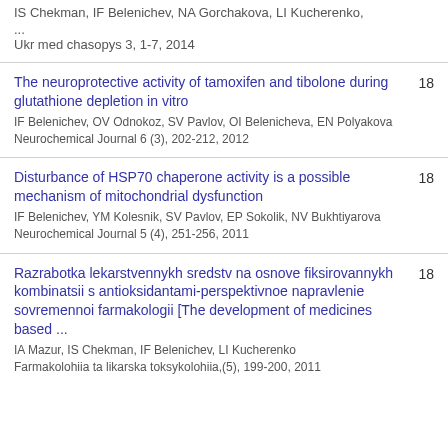IS Chekman, IF Belenichev, NA Gorchakova, LI Kucherenko, ...
Ukr med chasopys 3, 1-7, 2014
The neuroprotective activity of tamoxifen and tibolone during glutathione depletion in vitro
IF Belenichev, OV Odnokoz, SV Pavlov, OI Belenicheva, EN Polyakova
Neurochemical Journal 6 (3), 202-212, 2012
18
Disturbance of HSP70 chaperone activity is a possible mechanism of mitochondrial dysfunction
IF Belenichev, YM Kolesnik, SV Pavlov, EP Sokolik, NV Bukhtiyarova
Neurochemical Journal 5 (4), 251-256, 2011
18
Razrabotka lekarstvennykh sredstv na osnove fiksirovannykh kombinatsii s antioksidantami-perspektivnoe napravlenie sovremennoi farmakologii [The development of medicines based ...
IA Mazur, IS Chekman, IF Belenichev, LI Kucherenko
Farmakolohiia ta likarska toksykolohiia,(5), 199-200, 2011
18